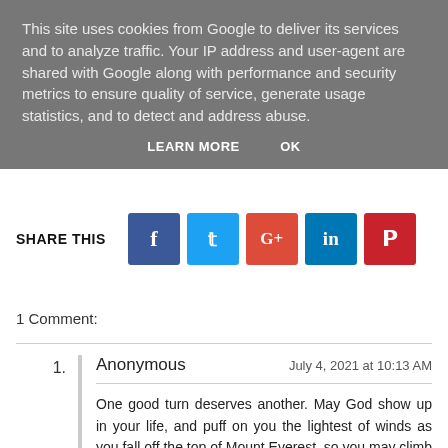This site uses cookies from Google to deliver its services and to analyze traffic. Your IP address and user-agent are shared with Google along with performance and security metrics to ensure quality of service, generate usage statistics, and to detect and address abuse.
LEARN MORE   OK
SHARE THIS
[Figure (infographic): Social share buttons: Facebook (blue), Twitter (cyan), Google+ (red-orange), LinkedIn (dark blue), Pinterest (red)]
1 Comment:
1. Anonymous — July 4, 2021 at 10:13 AM — One good turn deserves another. May God show up in your life, and puff on you the lightest of winds as you fall off the top of Mount Everest, so you may climb a higher mountain to see and understand more.